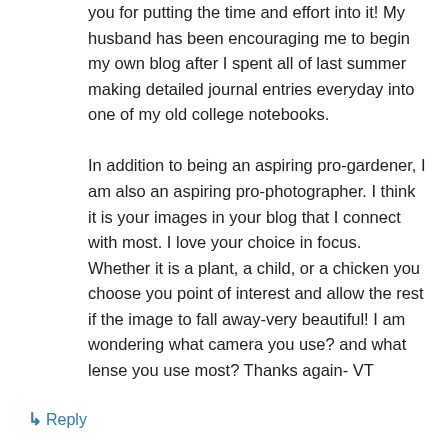you for putting the time and effort into it! My husband has been encouraging me to begin my own blog after I spent all of last summer making detailed journal entries everyday into one of my old college notebooks.
In addition to being an aspiring pro-gardener, I am also an aspiring pro-photographer. I think it is your images in your blog that I connect with most. I love your choice in focus. Whether it is a plant, a child, or a chicken you choose you point of interest and allow the rest if the image to fall away-very beautiful! I am wondering what camera you use? and what lense you use most? Thanks again- VT
↳ Reply